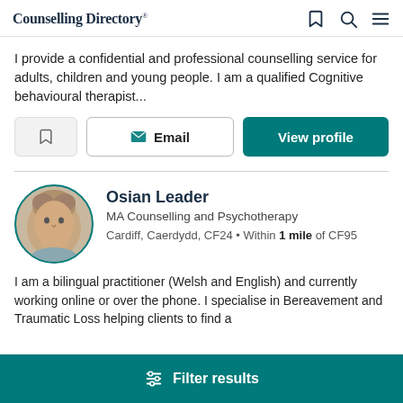Counselling Directory
I provide a confidential and professional counselling service for adults, children and young people. I am a qualified Cognitive behavioural therapist...
Osian Leader
MA Counselling and Psychotherapy
Cardiff, Caerdydd, CF24 • Within 1 mile of CF95
I am a bilingual practitioner (Welsh and English) and currently working online or over the phone. I specialise in Bereavement and Traumatic Loss helping clients to find a
Filter results